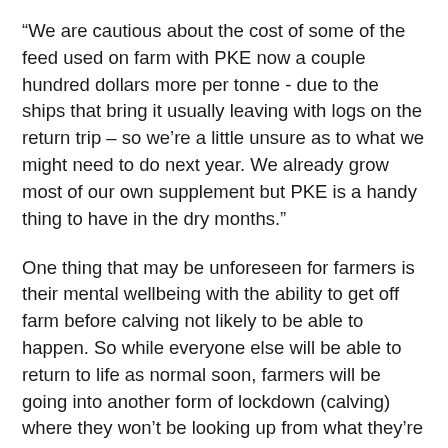“We are cautious about the cost of some of the feed used on farm with PKE now a couple hundred dollars more per tonne - due to the ships that bring it usually leaving with logs on the return trip – so we’re a little unsure as to what we might need to do next year. We already grow most of our own supplement but PKE is a handy thing to have in the dry months.”
One thing that may be unforeseen for farmers is their mental wellbeing with the ability to get off farm before calving not likely to be able to happen. So while everyone else will be able to return to life as normal soon, farmers will be going into another form of lockdown (calving) where they won’t be looking up from what they’re doing till December.
“Our family has had every event and thing we looked forward to cancelled,” says Trish. “No more basketball, rugby, or surf life saving and swimming. This is all a small sacrifice, but for a dairy farmer - March to June are the months you can easily get off farm before calving starts again and you are tied to the farm from July to December. We had to cancel our June